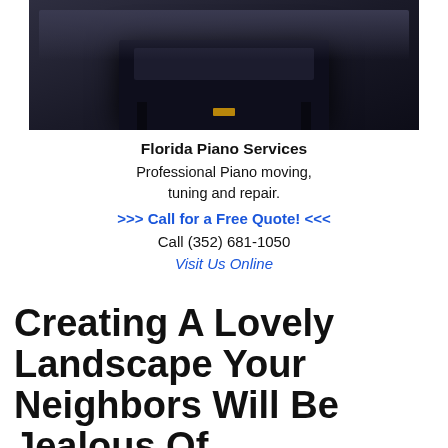[Figure (photo): Photo of a black piano bench with leather seat and metal hardware, against a dark gray background.]
Florida Piano Services
Professional Piano moving, tuning and repair.
>>> Call for a Free Quote! <<<
Call (352) 681-1050
Visit Us Online
Creating A Lovely Landscape Your Neighbors Will Be Jealous Of